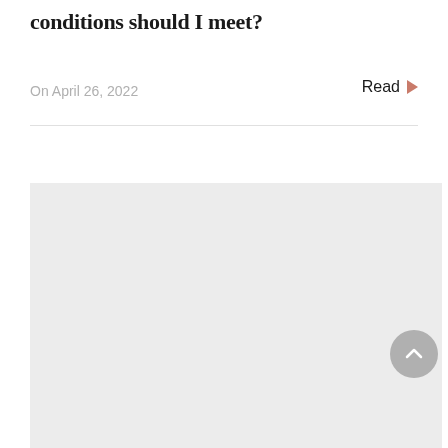conditions should I meet?
On April 26, 2022
Read ▶
[Figure (other): Light gray placeholder rectangle filling the lower portion of the page, with a circular scroll-to-top button overlaid at the right side]